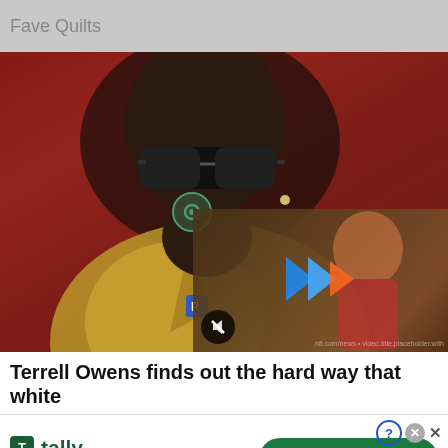Fave Quilts
[Figure (photo): Close-up photo of Terrell Owens wearing sunglasses and a tan/gold blazer, with a video player overlay in the lower right portion of the image showing a semi-transparent panel with a play button and mute icon.]
Terrell Owens finds out the hard way that white
[Figure (infographic): Tally advertisement banner: Tally logo with green icon, text 'Fast credit card payoff', and a green 'Download Now' button with arrow. Help and close buttons in top right corner.]